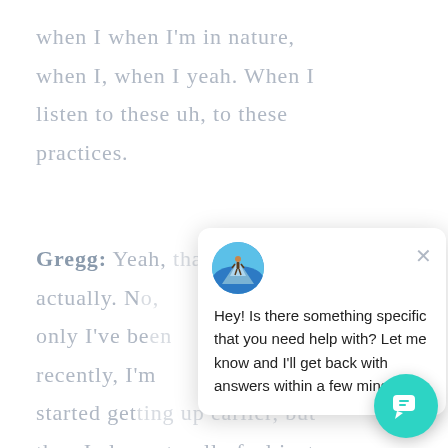when I when I'm in nature, when I, when I yeah. When I listen to these uh, to these practices.
Gregg: Yeah, actually. No, only I've been recently, I'm started getting up earlier, but then I also naturally feel just like three or four. I feel like
[Figure (screenshot): Chat popup overlay with avatar image, close button (×), and message: 'Hey! Is there something specific that you need help with? Let me know and I'll get back with answers within a few mins.' A teal circular chat button is in the bottom-right corner.]